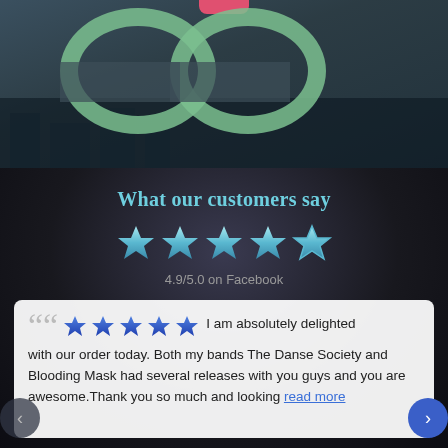[Figure (illustration): Top banner with large green quotation mark rings on a dark blue-grey background with a pink accent at top center]
What our customers say
[Figure (infographic): Five light blue gradient stars rating display]
4.9/5.0 on Facebook
I am absolutely delighted with our order today. Both my bands The Danse Society and Blooding Mask had several releases with you guys and you are awesome.Thank you so much and looking read more